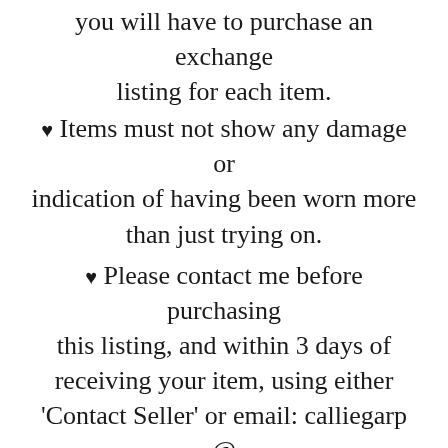you will have to purchase an exchange listing for each item.
♥ Items must not show any damage or indication of having been worn more than just trying on.
♥ Please contact me before purchasing this listing, and within 3 days of receiving your item, using either 'Contact Seller' or email: calliegarp @ gmail . com and I'll give you instructions for mailing your garment back to me.
♥ Your item must be postmarked within 7 (seven) days of receipt (confirmed by